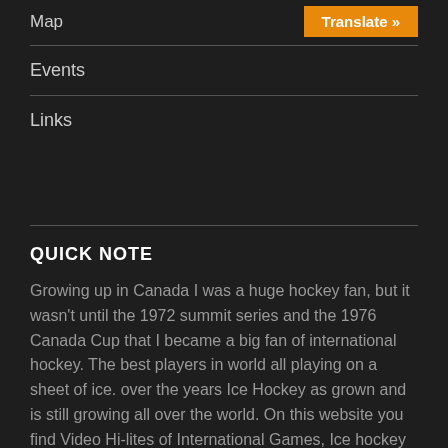Map
Translate »
Events
Links
QUICK NOTE
Growing up in Canada I was a huge hockey fan, but it wasn't until the 1972 summit series and the 1976 Canada Cup that I became a big fan of international hockey. The best players in world all playing on a sheet of ice. over the years Ice Hockey as grown and is still growing all over the world. On this website you find Video Hi-lites of International Games, Ice hockey News, National Team Records, All Time Results, Scores...